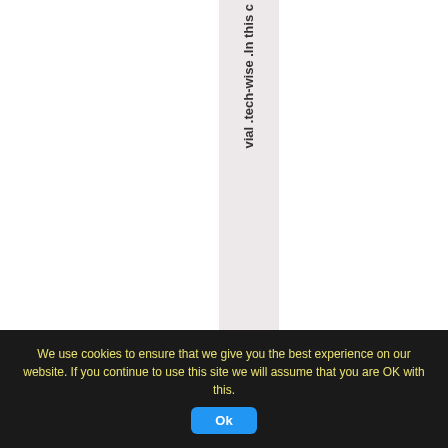vial .tech-wise .In this c
We use cookies to ensure that we give you the best experience on our website. If you continue to use this site we will assume that you are OK with this.
Ok